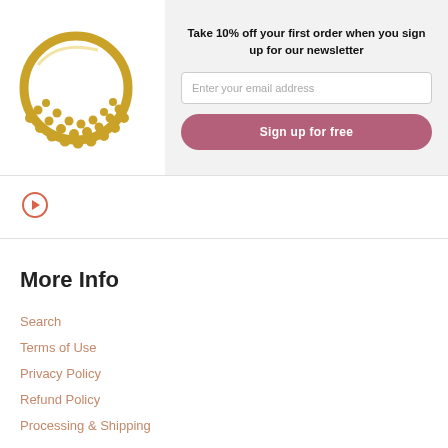[Figure (photo): Gold decorative ring/jewelry piece with beaded details arranged in a fan shape, photographed on white background]
Take 10% off your first order when you sign up for our newsletter
[Figure (screenshot): Email input field with placeholder text 'Enter your email address']
[Figure (screenshot): Pink/mauve rounded button with white text 'Sign up for free']
[Figure (other): Orange/salmon colored right-arrow circle icon]
More Info
Search
Terms of Use
Privacy Policy
Refund Policy
Processing & Shipping